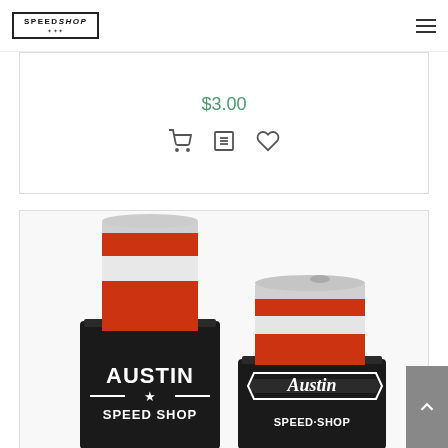Austin Speed Shop logo and hamburger menu
$3.00
[Figure (other): Three action icons: shopping cart, list/details icon, and heart/wishlist icon]
[Figure (photo): Two black neoprene can koozies with Austin Speed Shop branding — one tall slim koozie holding a red soda/beer can, one shorter standard koozie holding a red can. Both display 'Austin Speed Shop' logo in white text on black neoprene.]